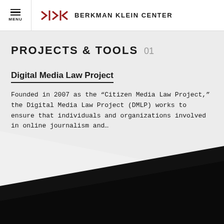MENU | BERKMAN KLEIN CENTER
PROJECTS & TOOLS 01
Digital Media Law Project
Founded in 2007 as the “Citizen Media Law Project,” the Digital Media Law Project (DMLP) works to ensure that individuals and organizations involved in online journalism and…